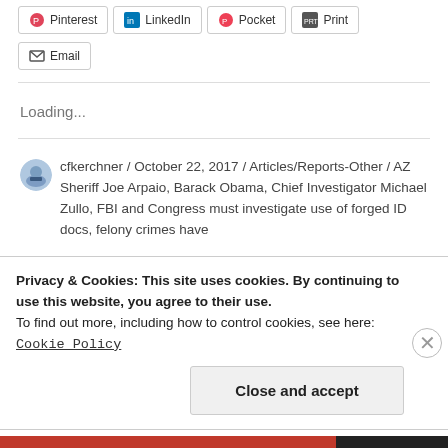[Figure (other): Row of social share buttons: Pinterest, LinkedIn, Pocket, Print; and Email button below]
Loading...
cfkerchner / October 22, 2017 / Articles/Reports-Other / AZ Sheriff Joe Arpaio, Barack Obama, Chief Investigator Michael Zullo, FBI and Congress must investigate use of forged ID docs, felony crimes have
Privacy & Cookies: This site uses cookies. By continuing to use this website, you agree to their use.
To find out more, including how to control cookies, see here:
Cookie Policy
Close and accept